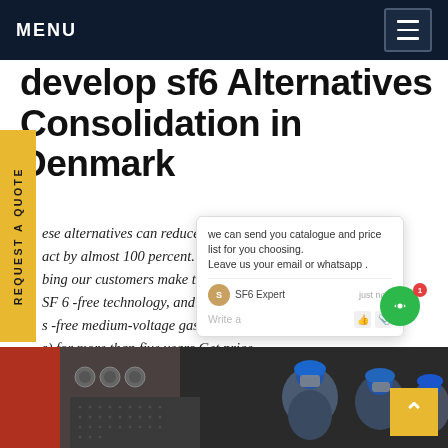MENU
develop sf6 Alternatives Consolidation in Denmark
ese alternatives can reduce the g ing act by almost 100 percent. We c be bing our customers make the tro 1 SF 6 -free technology, and have c ided s -free medium-voltage gas insu gear s) for more than five years.Get price
[Figure (screenshot): Chat popup widget showing message: 'we can send you catalogue and price list for you choosing. Leave us your email or whatsapp.' with SF6 Expert avatar and 'just now' timestamp, write a message field with like and attachment icons]
[Figure (photo): Workers in blue hard hats inspecting industrial electrical switchgear equipment, red and grey panels visible]